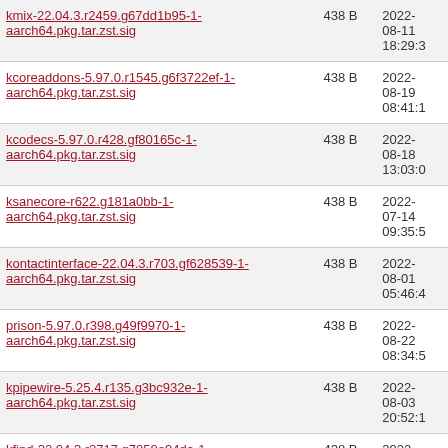| Filename | Size | Date |
| --- | --- | --- |
| kmix-22.04.3.r2459.g67dd1b95-1-aarch64.pkg.tar.zst.sig | 438 B | 2022-08-11 18:29:3 |
| kcoreaddons-5.97.0.r1545.g6f3722ef-1-aarch64.pkg.tar.zst.sig | 438 B | 2022-08-19 08:41:1 |
| kcodecs-5.97.0.r428.gf80165c-1-aarch64.pkg.tar.zst.sig | 438 B | 2022-08-18 13:03:0 |
| ksanecore-r622.g181a0bb-1-aarch64.pkg.tar.zst.sig | 438 B | 2022-07-14 09:35:5 |
| kontactinterface-22.04.3.r703.gf628539-1-aarch64.pkg.tar.zst.sig | 438 B | 2022-08-01 05:46:4 |
| prison-5.97.0.r398.g49f9970-1-aarch64.pkg.tar.zst.sig | 438 B | 2022-08-22 08:34:5 |
| kpipewire-5.25.4.r135.g3bc932e-1-aarch64.pkg.tar.zst.sig | 438 B | 2022-08-03 20:52:1 |
| kfind-22.04.3.r2717.g7050e94da-1-aarch64.pkg.tar.zst.sig | 438 B | 2022-08-12 09:07:3 |